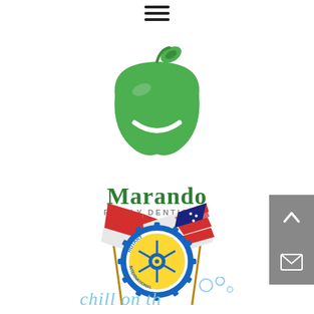[Figure (other): Hamburger/navigation menu icon (three horizontal bars) at top center]
[Figure (logo): Marando Family Dentistry logo: green apple with smile and leaf above the text 'Marando' in green serif font and 'FAMILY DENTISTRY' in grey sans-serif capitals]
[Figure (illustration): Rotary International logo/emblem (yellow and blue gear wheel) flanked by Canadian and American flags on crossed poles]
[Figure (other): Partial text/illustration at bottom reading 'chill on th...' in decorative blue script with bubble elements]
[Figure (other): Grey scroll-to-top button (arrow up) on right side]
[Figure (other): Grey email/mail button (envelope icon) on right side below scroll button]